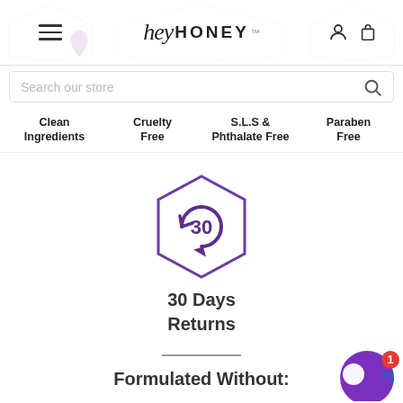hey HONEY - navigation header with logo, menu, search
Clean Ingredients
Cruelty Free
S.L.S & Phthalate Free
Paraben Free
[Figure (illustration): Hexagon icon with circular arrow and number 30 inside, representing 30-day returns policy]
30 Days Returns
Formulated Without: